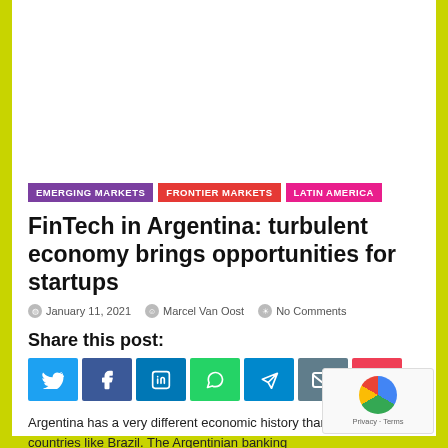Latin America Fintech Series
[Figure (photo): Colorful decorative background image with reds, yellows and oranges, featuring text 'Latin America Fintech Series' overlaid in a white banner]
EMERGING MARKETS
FRONTIER MARKETS
LATIN AMERICA
FinTech in Argentina: turbulent economy brings opportunities for startups
January 11, 2021   Marcel Van Oost   No Comments
Share this post:
Argentina has a very different economic history than neighboring countries like Brazil. The Argentinian banking